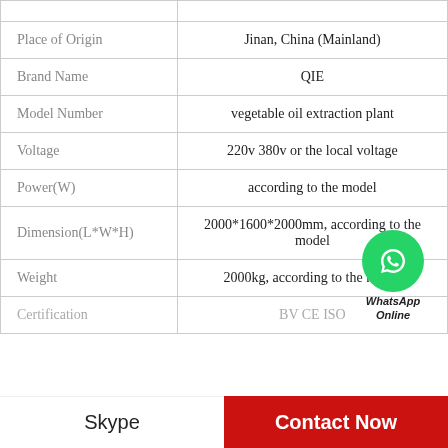| Property | Value |
| --- | --- |
| Place of Origin | Jinan, China (Mainland) |
| Brand Name | QIE |
| Model Number | vegetable oil extraction plant |
| Voltage | 220v 380v or the local voltage |
| Power(W) | according to the model |
| Dimension(L*W*H) | 2000*1600*2000mm, according to the model |
| Weight | 2000kg, according to the model |
| Certification | BV CE ISO |
WhatsApp Online
Skype | Contact Now